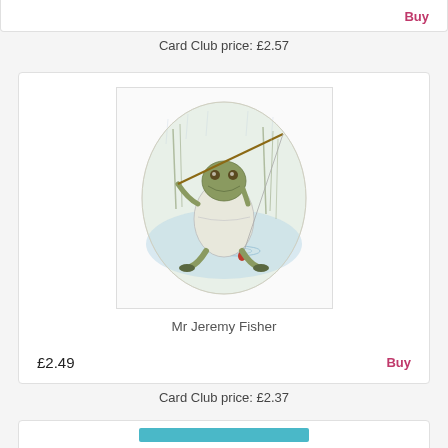Buy
Card Club price: £2.57
[Figure (illustration): Illustration of Mr Jeremy Fisher, a frog character sitting in water holding a fishing rod, wearing a mackintosh coat, in an oval vignette style watercolour]
Mr Jeremy Fisher
£2.49
Buy
Card Club price: £2.37